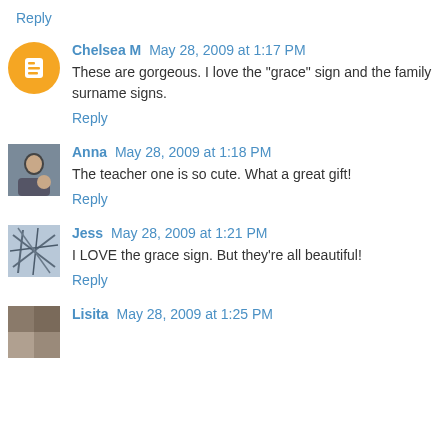Reply
Chelsea M May 28, 2009 at 1:17 PM
These are gorgeous. I love the "grace" sign and the family surname signs.
Reply
Anna May 28, 2009 at 1:18 PM
The teacher one is so cute. What a great gift!
Reply
Jess May 28, 2009 at 1:21 PM
I LOVE the grace sign. But they're all beautiful!
Reply
Lisita May 28, 2009 at 1:25 PM